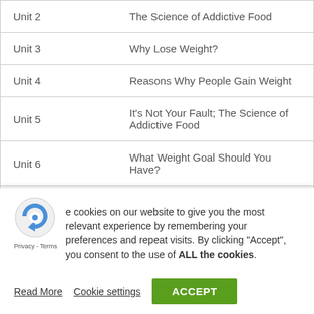| Unit | Title |
| --- | --- |
| Unit 2 | The Science of Addictive Food |
| Unit 3 | Why Lose Weight? |
| Unit 4 | Reasons Why People Gain Weight |
| Unit 5 | It's Not Your Fault; The Science of Addictive Food |
| Unit 6 | What Weight Goal Should You Have? |
| Unit 7 | Why Your Weightloss Plateaus |
| Unit 8 | Reasons You Might Not Be Losing Weight |
e cookies on our website to give you the most relevant experience by remembering your preferences and repeat visits. By clicking "Accept", you consent to the use of ALL the cookies.
Read More  Cookie settings  ACCEPT